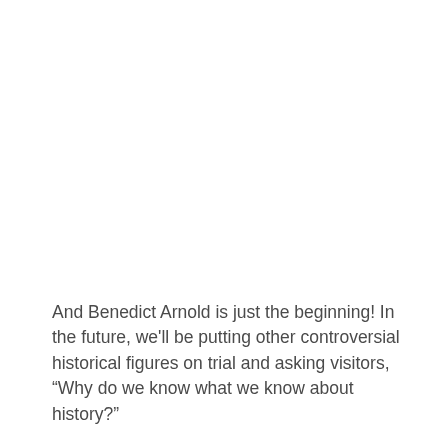And Benedict Arnold is just the beginning! In the future, we'll be putting other controversial historical figures on trial and asking visitors, “Why do we know what we know about history?”
“Time Trial of Benedict Arnold” runs Fridays and